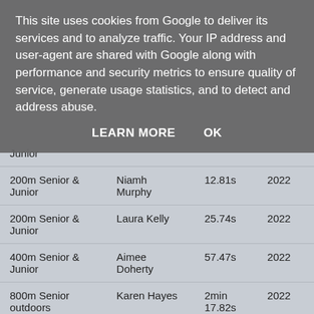This site uses cookies from Google to deliver its services and to analyze traffic. Your IP address and user-agent are shared with Google along with performance and security metrics to ensure quality of service, generate usage statistics, and to detect and address abuse.
LEARN MORE   OK
| Junior |  |  |  |
| 200m Senior & Junior | Niamh Murphy | 12.81s | 2022 |
| 200m Senior & Junior | Laura Kelly | 25.74s | 2022 |
| 400m Senior & Junior | Aimee Doherty | 57.47s | 2022 |
| 800m Senior outdoors | Karen Hayes | 2min 17.82s | 2022 |
| 800m  junior - outdoors | Sophie Quinn | 2 min 20.50 | 2022 |